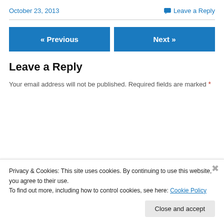October 23, 2013
Leave a Reply
[Figure (other): Navigation buttons: « Previous and Next »]
Leave a Reply
Your email address will not be published. Required fields are marked *
Privacy & Cookies: This site uses cookies. By continuing to use this website, you agree to their use.
To find out more, including how to control cookies, see here: Cookie Policy
Close and accept